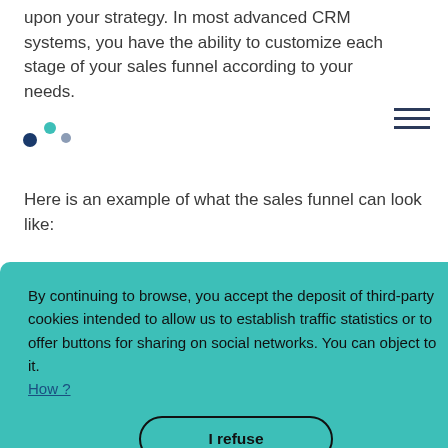upon your strategy. In most advanced CRM systems, you have the ability to customize each stage of your sales funnel according to your needs.
Here is an example of what the sales funnel can look like:
By continuing to browse, you accept the deposit of third-party cookies intended to allow us to establish traffic statistics or to offer buttons for sharing on social networks. You can object to it. How ?
I refuse
I accept